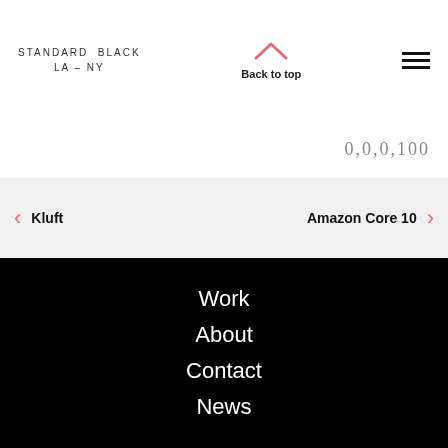STANDARD BLACK LA – NY
Back to top
0,0,0,100
← Kluft   Amazon Core 10 →
Work
About
Contact
News